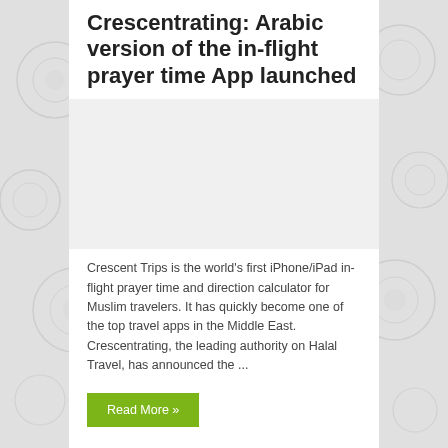Crescentrating: Arabic version of the in-flight prayer time App launched
[Figure (photo): Image placeholder area (white/light gray rectangle) below the title]
Crescent Trips is the world's first iPhone/iPad in-flight prayer time and direction calculator for Muslim travelers. It has quickly become one of the top travel apps in the Middle East. Crescentrating, the leading authority on Halal Travel, has announced the ...
Read More »